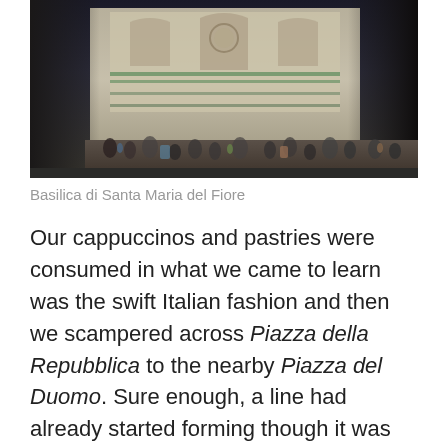[Figure (photo): Photograph of the facade of Basilica di Santa Maria del Fiore (Florence Cathedral / Duomo), showing the ornate white and green marble exterior with Gothic arches, sculptures, and crowds of people in the piazza in front.]
Basilica di Santa Maria del Fiore
Our cappuccinos and pastries were consumed in what we came to learn was the swift Italian fashion and then we scampered across Piazza della Repubblica to the nearby Piazza del Duomo. Sure enough, a line had already started forming though it was only going down one side of the basilica. We stood in stationary line with the other tourists for several minutes before word spread to the back that the steps to the Duomo were closed because of the holiday in honor of San Giovanni, Patron Saint of Florence. The day was already quite warm so we took that to be a blessing in disguise for saving us from a sweaty